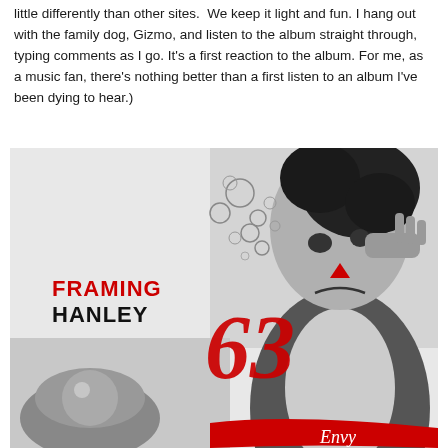little differently than other sites. We keep it light and fun. I hang out with the family dog, Gizmo, and listen to the album straight through, typing comments as I go. It's a first reaction to the album. For me, as a music fan, there's nothing better than a first listen to an album I've been dying to hear.)
[Figure (photo): Album cover art for Framing Hanley - shows a black and white photo of a person dressed as a clown with dramatic makeup and dark curly hair, bubbles floating near their head. Lower portion shows hands holding a metallic sphere. Red artistic logo '63' in center. Red brushstroke at bottom right with cursive text 'Envy'. Band name 'FRAMING HANLEY' in red and black text on left side.]